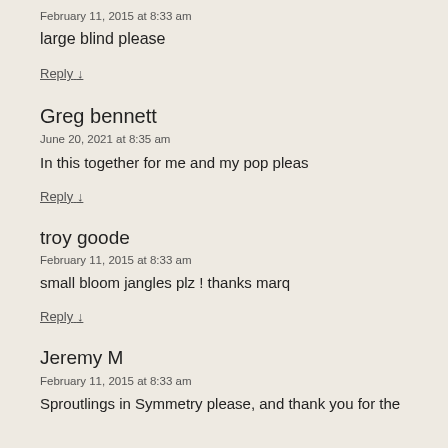February 11, 2015 at 8:33 am
large blind please
Reply ↓
Greg bennett
June 20, 2021 at 8:35 am
In this together for me and my pop pleas
Reply ↓
troy goode
February 11, 2015 at 8:33 am
small bloom jangles plz ! thanks marq
Reply ↓
Jeremy M
February 11, 2015 at 8:33 am
Sproutlings in Symmetry please, and thank you for the